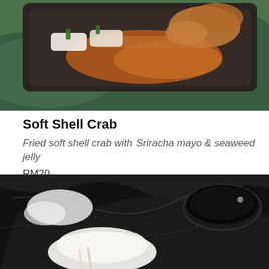[Figure (photo): Top-down photo of a dark rectangular plate with fried soft shell crab, orange sauce/Sriracha mayo, and crumbled toppings on a green marble surface]
Soft Shell Crab
Fried soft shell crab with Sriracha mayo & seaweed jelly
RM20
[Figure (photo): Partial photo of a dish on a dark black marble surface, showing what appears to be a white bun or food item with chopsticks, and dark bowls in the background]